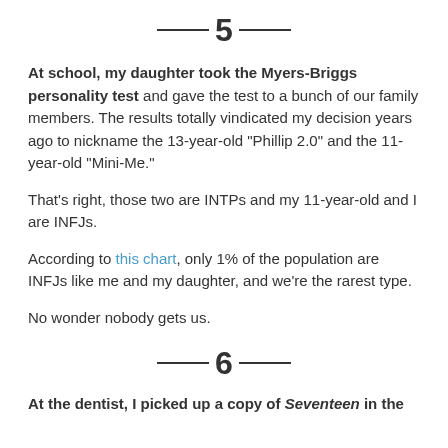—5—
At school, my daughter took the Myers-Briggs personality test and gave the test to a bunch of our family members. The results totally vindicated my decision years ago to nickname the 13-year-old "Phillip 2.0" and the 11-year-old "Mini-Me."
That's right, those two are INTPs and my 11-year-old and I are INFJs.
According to this chart, only 1% of the population are INFJs like me and my daughter, and we're the rarest type.
No wonder nobody gets us.
—6—
At the dentist, I picked up a copy of Seventeen in the